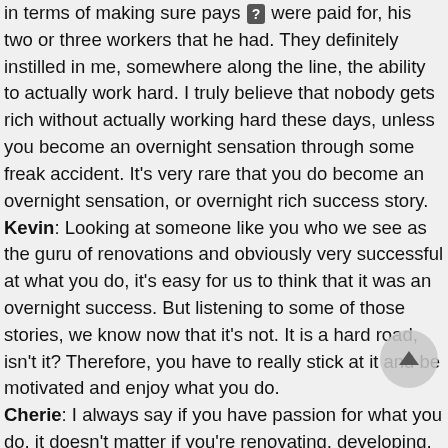in terms of making sure pays [?] were paid for, his two or three workers that he had. They definitely instilled in me, somewhere along the line, the ability to actually work hard. I truly believe that nobody gets rich without actually working hard these days, unless you become an overnight sensation through some freak accident. It's very rare that you do become an overnight sensation, or overnight rich success story.
Kevin:  Looking at someone like you who we see as the guru of renovations and obviously very successful at what you do, it's easy for us to think that it was an overnight success. But listening to some of those stories, we know now that it's not. It is a hard road, isn't it? Therefore, you have to really stick at it and be motivated and enjoy what you do.
Cherie:  I always say if you have passion for what you do, it doesn't matter if you're renovating, developing, baking cakes, a school teacher, or whatever. I know it sounds very cliché, but if you have passion it goes so much further in terms of driving you to a certain